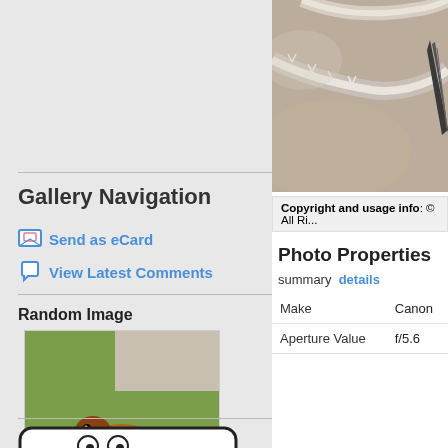Gallery Navigation
Send as eCard
View Latest Comments
Random Image
[Figure (photo): A Rufous-backed Thrush standing on green grass, brown-orange bird with dark wings]
Rufous-backed Thrush
[Figure (photo): Close-up macro photo of a bird's beak/bill on a frost-covered branch, blurred background]
Copyright and usage info: © All Ri...
Photo Properties
summary  details
| Property | Value |
| --- | --- |
| Make | Canon |
| Aperture Value | f/5.6 |